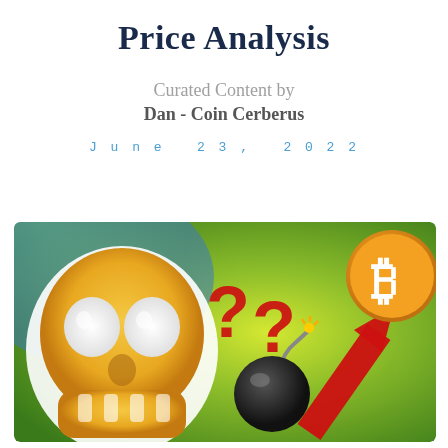Price Analysis
Curated Content by
Dan - Coin Cerberus
June 23, 2022
[Figure (illustration): Illustration showing a screaming skull emoji on the left, two large red question marks in the center, a bomb emoji in the lower center, a red upward-pointing arrow on the right, and a Bitcoin logo (orange circle with white B) in the upper right, all on a green-yellow gradient background.]